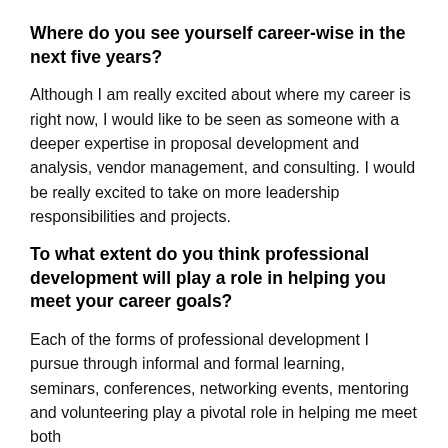Where do you see yourself career-wise in the next five years?
Although I am really excited about where my career is right now, I would like to be seen as someone with a deeper expertise in proposal development and analysis, vendor management, and consulting. I would be really excited to take on more leadership responsibilities and projects.
To what extent do you think professional development will play a role in helping you meet your career goals?
Each of the forms of professional development I pursue through informal and formal learning, seminars, conferences, networking events, mentoring and volunteering play a pivotal role in helping me meet both